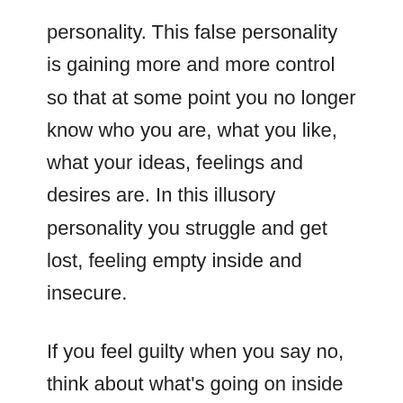personality. This false personality is gaining more and more control so that at some point you no longer know who you are, what you like, what your ideas, feelings and desires are. In this illusory personality you struggle and get lost, feeling empty inside and insecure.
If you feel guilty when you say no, think about what's going on inside you. When you let go of certain ideas, actions, desires that you do not want, inside you, it is like a violation of your own space, a violation of your own person, and that leaves a wound, a trace that crystallizes and presses you, as a result you contract and it makes you harder inside.